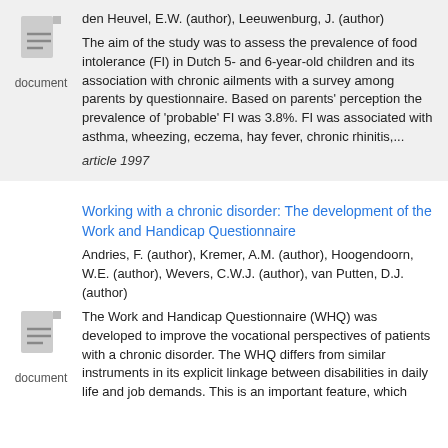den Heuvel, E.W. (author), Leeuwenburg, J. (author)
The aim of the study was to assess the prevalence of food intolerance (FI) in Dutch 5- and 6-year-old children and its association with chronic ailments with a survey among parents by questionnaire. Based on parents' perception the prevalence of 'probable' FI was 3.8%. FI was associated with asthma, wheezing, eczema, hay fever, chronic rhinitis,...
article 1997
Working with a chronic disorder: The development of the Work and Handicap Questionnaire
Andries, F. (author), Kremer, A.M. (author), Hoogendoorn, W.E. (author), Wevers, C.W.J. (author), van Putten, D.J. (author)
The Work and Handicap Questionnaire (WHQ) was developed to improve the vocational perspectives of patients with a chronic disorder. The WHQ differs from similar instruments in its explicit linkage between disabilities in daily life and job demands. This is an important feature, which